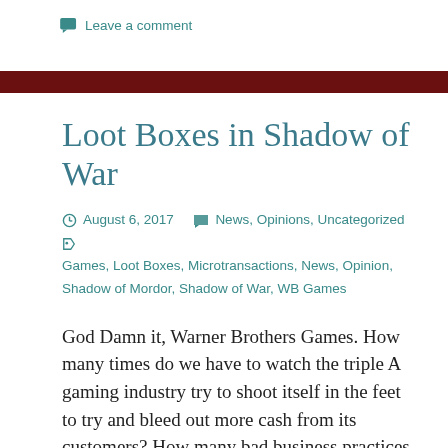Leave a comment
Loot Boxes in Shadow of War
August 6, 2017   News, Opinions, Uncategorized   Games, Loot Boxes, Microtransactions, News, Opinion, Shadow of Mordor, Shadow of War, WB Games
God Damn it, Warner Brothers Games. How many times do we have to watch the triple A gaming industry try to shoot itself in the feet to try and bleed out more cash from its customers? How many bad business practices